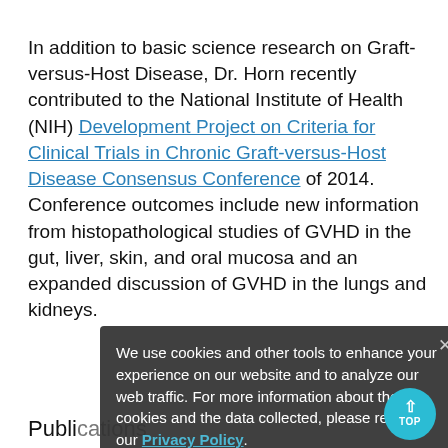In addition to basic science research on Graft-versus-Host Disease, Dr. Horn recently contributed to the National Institute of Health (NIH) Development Project on Criteria for Clinical Trials in Chronic Graft-versus-Host Disease Consensus Conference of 2014. Conference outcomes include new information from histopathological studies of GVHD in the gut, liver, skin, and oral mucosa and an expanded discussion of GVHD in the lungs and kidneys.
Publications
Dr. Horn has over 85 articles listed on PubMed. Journals include Nature (Journal of Investigative Dermatology), the Journal of the American Academy of Dermatology, and JAMA Derm...
http://www.ncbi.nlm.nih.gov/pubmed/?term=horn+td
We use cookies and other tools to enhance your experience on our website and to analyze our web traffic. For more information about these cookies and the data collected, please refer to our Privacy Policy.